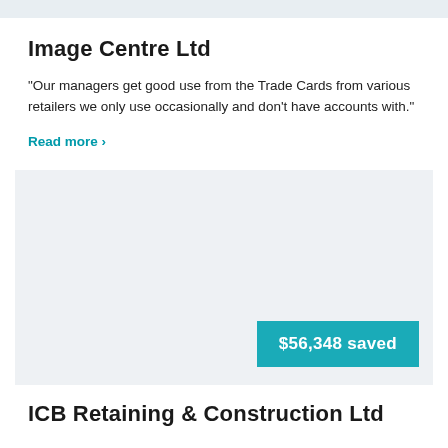Image Centre Ltd
"Our managers get good use from the Trade Cards from various retailers we only use occasionally and don't have accounts with."
Read more ›
[Figure (other): Light grey rectangular image placeholder with a teal savings badge reading '$56,348 saved' in the bottom right corner.]
ICB Retaining & Construction Ltd